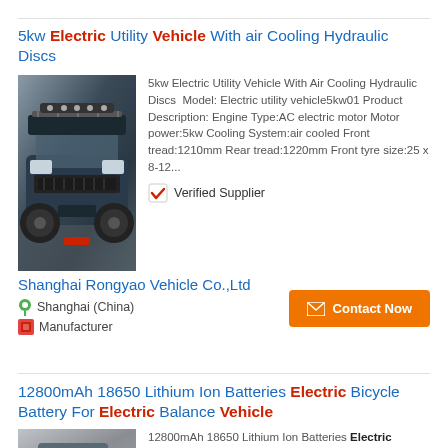5kw Electric Utility Vehicle With air Cooling Hydraulic Discs
[Figure (photo): Front view of a blue electric utility vehicle/UTV with roof rack and large off-road tires]
5kw Electric Utility Vehicle With Air Cooling Hydraulic Discs  Model: Electric utility vehicle5kw01 Product Description: Engine Type:AC electric motor Motor power:5kw Cooling System:air cooled Front tread:1210mm Rear tread:1220mm Front tyre size:25 x 8-12...
✔ Verified Supplier
Shanghai Rongyao Vehicle Co.,Ltd
Shanghai (China)
Manufacturer
Contact Now
12800mAh 18650 Lithium Ion Batteries Electric Bicycle Battery For Electric Balance Vehicle
[Figure (photo): Lithium ion battery pack product image]
12800mAh 18650 Lithium Ion Batteries Electric Bicycle Battery For Electric Balance Vehicle Product Description: A quality cell, large capacity, lasting power,